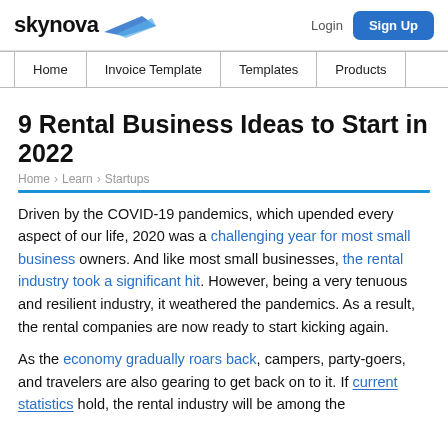skynova | Login | Sign Up
Home | Invoice Template | Templates | Products
9 Rental Business Ideas to Start in 2022
Home › Learn › Startups
Driven by the COVID-19 pandemics, which upended every aspect of our life, 2020 was a challenging year for most small business owners. And like most small businesses, the rental industry took a significant hit. However, being a very tenuous and resilient industry, it weathered the pandemics. As a result, the rental companies are now ready to start kicking again.
As the economy gradually roars back, campers, party-goers, and travelers are also gearing to get back on to it. If current statistics hold, the rental industry will be among the